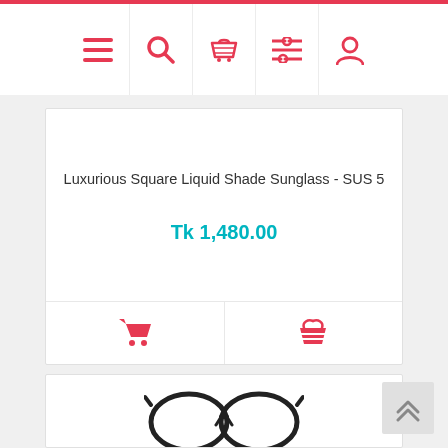[Figure (screenshot): Navigation bar with menu, search, cart, filter, and user icons in red on white background with red top border]
Luxurious Square Liquid Shade Sunglass - SUS 5
Tk 1,480.00
[Figure (screenshot): Add to cart button (shopping cart icon) and basket/wishlist icon in red]
[Figure (photo): Partial product image of sunglasses visible at bottom of page]
[Figure (other): Scroll to top button with double chevron up arrow]